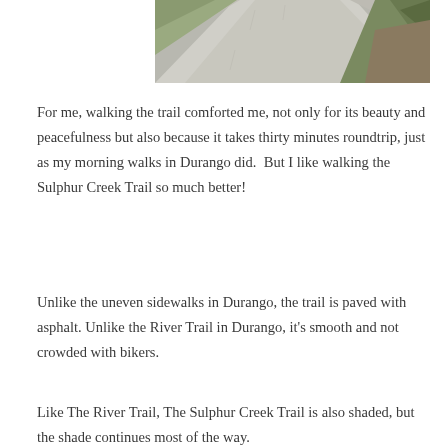[Figure (photo): A paved concrete/asphalt trail path with grass and vegetation on the right side, viewed from above looking down the path.]
For me, walking the trail comforted me, not only for its beauty and peacefulness but also because it takes thirty minutes roundtrip, just as my morning walks in Durango did.  But I like walking the Sulphur Creek Trail so much better!
Unlike the uneven sidewalks in Durango, the trail is paved with asphalt. Unlike the River Trail in Durango, it's smooth and not crowded with bikers.
Like The River Trail, The Sulphur Creek Trail is also shaded, but the shade continues most of the way.